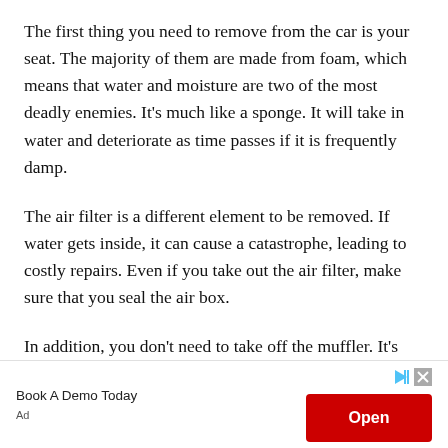The first thing you need to remove from the car is your seat. The majority of them are made from foam, which means that water and moisture are two of the most deadly enemies. It's much like a sponge. It will take in water and deteriorate as time passes if it is frequently damp.
The air filter is a different element to be removed. If water gets inside, it can cause a catastrophe, leading to costly repairs. Even if you take out the air filter, make sure that you seal the air box.
In addition, you don't need to take off the muffler. It's
[Figure (other): Advertisement banner with text 'Book A Demo Today', an 'Open' button in red, play and close icons, and 'Ad' label at bottom left.]